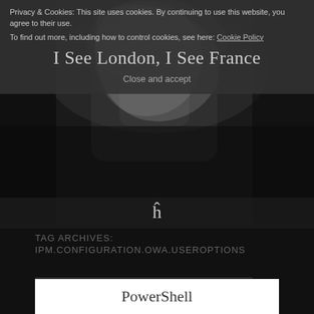[Figure (photo): Dark background photo partially visible behind cookie consent banner, showing a draped white fabric figure]
Privacy & Cookies: This site uses cookies. By continuing to use this website, you agree to their use.
To find out more, including how to control cookies, see here: Cookie Policy
I See London, I See France
Close and accept
[Figure (illustration): Home icon symbol (ħ character) used as navigation]
TAG ARCHIVES:
IPM.CONFIGURATION.OWA.USEROPTIONS
[Figure (screenshot): White article card preview showing the title PowerShell]
PowerShell